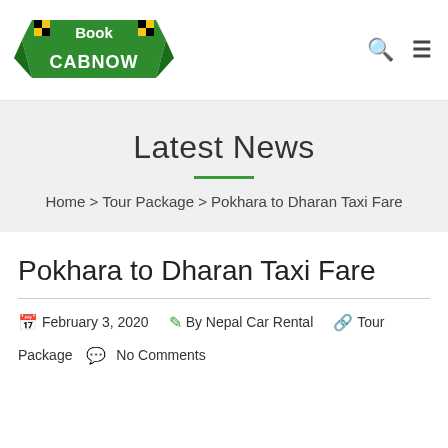[Figure (logo): BookCabNow logo — green banner with checkered taxi pattern and text 'Book CABNOW']
Latest News
Home > Tour Package > Pokhara to Dharan Taxi Fare
Pokhara to Dharan Taxi Fare
February 3, 2020   By Nepal Car Rental   Tour Package   No Comments